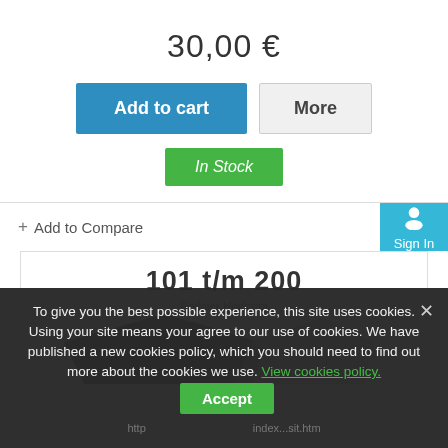30,00 €
Add to cart
More
In Stock
+ Add to Compare
Sign In
[Figure (screenshot): Book preview showing '101 t/m 200' by Redmer Hoekstra with book images below]
To give you the best possible experience, this site uses cookies. Using your site means your agree to our use of cookies. We have published a new cookies policy, which you should need to find out more about the cookies we use. View cookies policy.
Accept